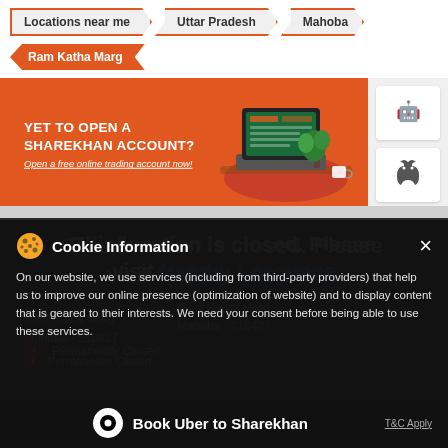Locations near me
Uttar Pradesh
Mahoba
Ram Katha Marg
[Figure (illustration): Sharekhan promotional banner: YET TO OPEN A SHAREKHAN ACCOUNT? Open a free online trading account now! with laptop illustration and Android/Apple app store badges]
This location is closed. Please visit Nearby Locations
Ram Katha Marg
Mahoba - 210427
Permanently Closed
Cookie Information
On our website, we use services (including from third-party providers) that help us to improve our online presence (optimization of website) and to display content that is geared to their interests. We need your consent before being able to use these services.
Book Uber to Sharekhan
T&C Apply